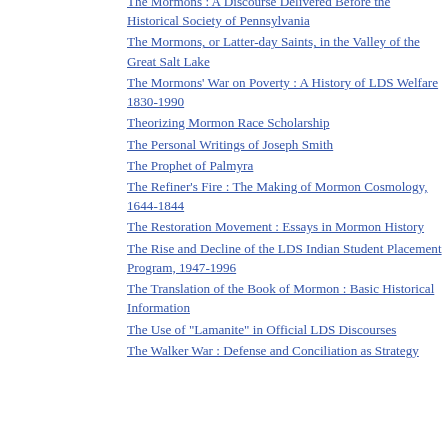The Mormons : A Discourse Delivered Before the Historical Society of Pennsylvania
The Mormons, or Latter-day Saints, in the Valley of the Great Salt Lake
The Mormons' War on Poverty : A History of LDS Welfare 1830-1990
Theorizing Mormon Race Scholarship
The Personal Writings of Joseph Smith
The Prophet of Palmyra
The Refiner's Fire : The Making of Mormon Cosmology, 1644-1844
The Restoration Movement : Essays in Mormon History
The Rise and Decline of the LDS Indian Student Placement Program, 1947-1996
The Translation of the Book of Mormon : Basic Historical Information
The Use of "Lamanite" in Official LDS Discourses
The Walker War : Defense and Conciliation as Strategy